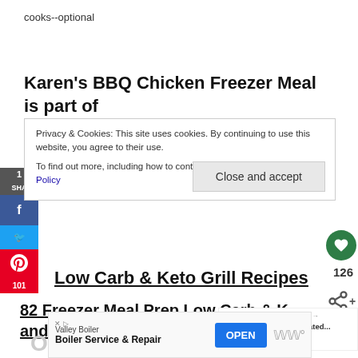cooks--optional
Karen's BBQ Chicken Freezer Meal is part of
Privacy & Cookies: This site uses cookies. By continuing to use this website, you agree to their use.
To find out more, including how to control cookies, see here: Cookie Policy
Close and accept
Low Carb & Keto Grill Recipes
82 Freezer Meal Prep Low Carb & K… and Recipes
[Figure (screenshot): What's Next promo with image of Grilled Marinated... dish]
[Figure (screenshot): Ad banner: Valley Boiler - Boiler Service & Repair with OPEN button]